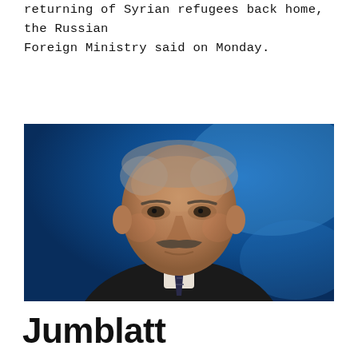returning of Syrian refugees back home, the Russian Foreign Ministry said on Monday.
[Figure (photo): A man with gray hair and a mustache wearing a dark suit and striped tie, photographed against a blue blurred background, appearing to be in a TV studio setting.]
Jumblatt